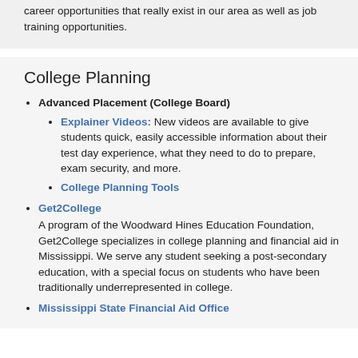career opportunities that really exist in our area as well as job training opportunities.
College Planning
Advanced Placement (College Board)
Explainer Videos: New videos are available to give students quick, easily accessible information about their test day experience, what they need to do to prepare, exam security, and more.
College Planning Tools
Get2College — A program of the Woodward Hines Education Foundation, Get2College specializes in college planning and financial aid in Mississippi. We serve any student seeking a post-secondary education, with a special focus on students who have been traditionally underrepresented in college.
Mississippi State Financial Aid Office